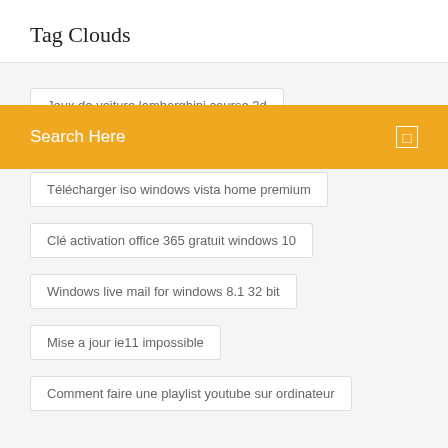Tag Clouds
Jeux de voiture lamborghini course 3d
Search Here
Télécharger iso windows vista home premium
Clé activation office 365 gratuit windows 10
Windows live mail for windows 8.1 32 bit
Mise a jour ie11 impossible
Comment faire une playlist youtube sur ordinateur